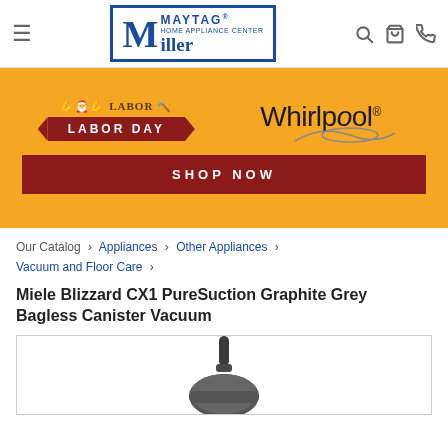Miller Maytag Home Appliance Center
[Figure (infographic): Labor Day sale banner with Whirlpool logo on orange background with Shop Now button]
Our Catalog › Appliances › Other Appliances › Vacuum and Floor Care ›
Miele Blizzard CX1 PureSuction Graphite Grey Bagless Canister Vacuum
[Figure (photo): Partial photo of Miele Blizzard CX1 vacuum cleaner in graphite grey, showing top portion of the canister body]